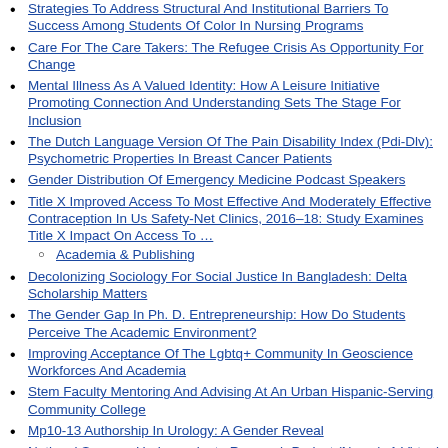Strategies To Address Structural And Institutional Barriers To Success Among Students Of Color In Nursing Programs
Care For The Care Takers: The Refugee Crisis As Opportunity For Change
Mental Illness As A Valued Identity: How A Leisure Initiative Promoting Connection And Understanding Sets The Stage For Inclusion
The Dutch Language Version Of The Pain Disability Index (Pdi-Dlv): Psychometric Properties In Breast Cancer Patients
Gender Distribution Of Emergency Medicine Podcast Speakers
Title X Improved Access To Most Effective And Moderately Effective Contraception In Us Safety-Net Clinics, 2016–18: Study Examines Title X Impact On Access To …
Academia & Publishing
Decolonizing Sociology For Social Justice In Bangladesh: Delta Scholarship Matters
The Gender Gap In Ph. D. Entrepreneurship: How Do Students Perceive The Academic Environment?
Improving Acceptance Of The Lgbtq+ Community In Geoscience Workforces And Academia
Stem Faculty Mentoring And Advising At An Urban Hispanic-Serving Community College
Mp10-13 Authorship In Urology: A Gender Reveal
National Summer Undergraduate Research Project (Nsurp): A Virtual Research Experience To Deliver Real (Retention